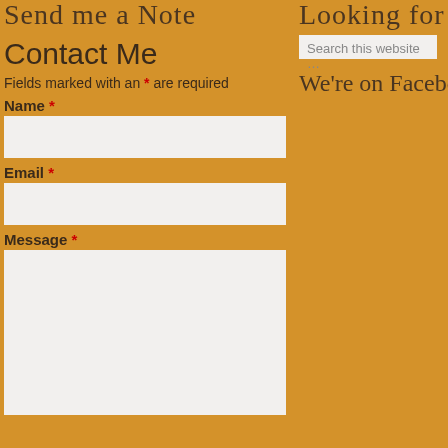Send me a Note
Looking for som
Search this website …
Contact Me
Fields marked with an * are required
Name *
Email *
Message *
We're on Facebo